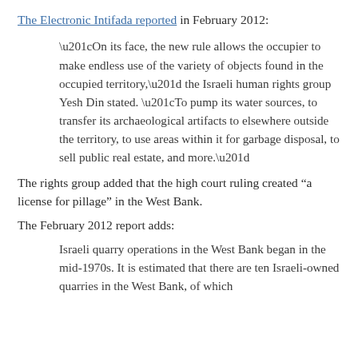The Electronic Intifada reported in February 2012:
“On its face, the new rule allows the occupier to make endless use of the variety of objects found in the occupied territory,” the Israeli human rights group Yesh Din stated. “To pump its water sources, to transfer its archaeological artifacts to elsewhere outside the territory, to use areas within it for garbage disposal, to sell public real estate, and more.”
The rights group added that the high court ruling created “a license for pillage” in the West Bank.
The February 2012 report adds:
Israeli quarry operations in the West Bank began in the mid-1970s. It is estimated that there are ten Israeli-owned quarries in the West Bank, of which